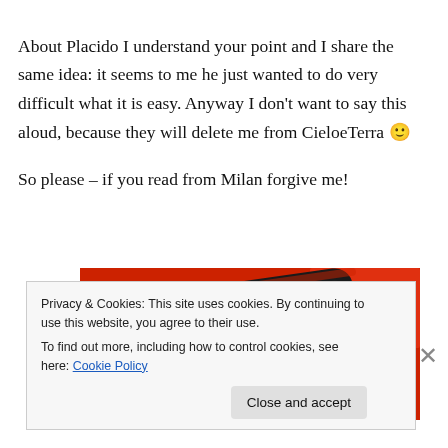About Placido I understand your point and I share the same idea: it seems to me he just wanted to do very difficult what it is easy. Anyway I don't want to say this aloud, because they will delete me from CieloeTerra 🙂

So please – if you read from Milan forgive me!
[Figure (photo): A smartphone with a dark screen showing a music player interface (pause button and controls) on a red background, seen at an angle.]
Privacy & Cookies: This site uses cookies. By continuing to use this website, you agree to their use.
To find out more, including how to control cookies, see here: Cookie Policy
Close and accept